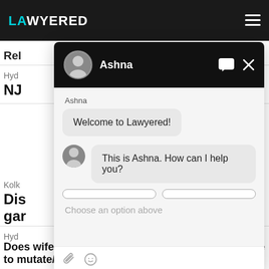LAWYERED
Rel
Hyd
NJ
[Figure (screenshot): Chat widget from Lawyered legal platform. Header shows agent named 'Ashna' with avatar photo on black background. Chat messages: 'Welcome to Lawyered!' in a grey bubble, and 'This is Ashna. How can I help you?' in a second grey bubble with avatar. Quick reply buttons (partially visible). Placeholder text 'Choose an option above'. Footer with paperclip and emoji icons.]
Kolk
Dis gar
Hyd
Does wife require Legal Heir/succession certificate to mutate/transfer of land ?